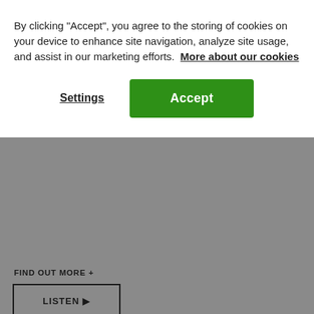By clicking “Accept”, you agree to the storing of cookies on your device to enhance site navigation, analyze site usage, and assist in our marketing efforts.  More about our cookies
Settings
Accept
FIND OUT MORE +
LISTEN ►
Share on
Related works